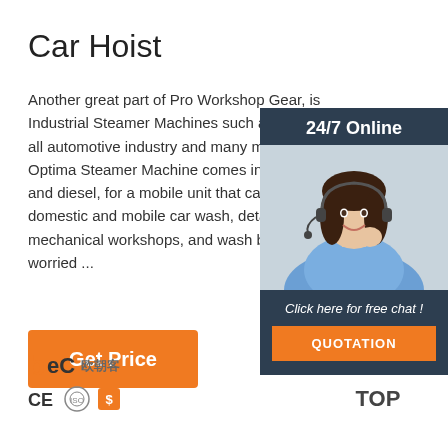Car Hoist
Another great part of Pro Workshop Gear, is Supplying Industrial Steamer Machines such as Optima all automotive industry and many more busin Optima Steamer Machine comes in 2 version and diesel, for a mobile unit that can be perfe domestic and mobile car wash, detailing wor mechanical workshops, and wash bays, with worried ...
[Figure (photo): Chat widget with woman wearing headset, 24/7 Online label, 'Click here for free chat!' text, and QUOTATION button]
[Figure (illustration): Get Price orange button]
[Figure (logo): BEC logo with Chinese characters and CE certification icons]
[Figure (illustration): TOP back-to-top button with orange dots arrow pointing up]